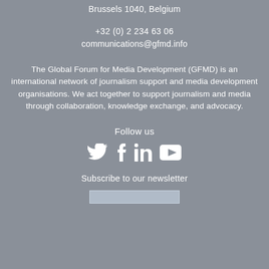Brussels 1040, Belgium
+32 (0) 2 234 63 06
communications@gfmd.info
The Global Forum for Media Development (GFMD) is an international network of journalism support and media development organisations. We act together to support journalism and media through collaboration, knowledge exchange, and advocacy.
Follow us
[Figure (illustration): Social media icons: Twitter (bird), Facebook (f), LinkedIn (in), YouTube (play button)]
Subscribe to our newsletter